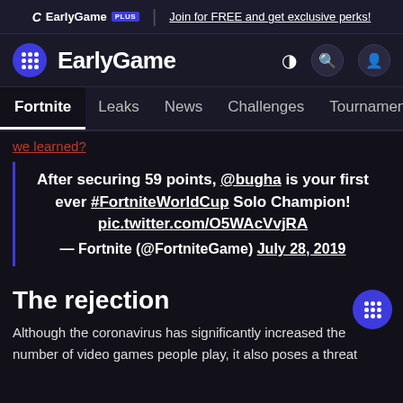EarlyGame PLUS | Join for FREE and get exclusive perks!
EarlyGame
Fortnite | Leaks | News | Challenges | Tournaments | Skins | Video
we learned?
After securing 59 points, @bugha is your first ever #FortniteWorldCup Solo Champion! pic.twitter.com/O5WAcVvjRA
— Fortnite (@FortniteGame) July 28, 2019
The rejection
Although the coronavirus has significantly increased the number of video games people play, it also poses a threat